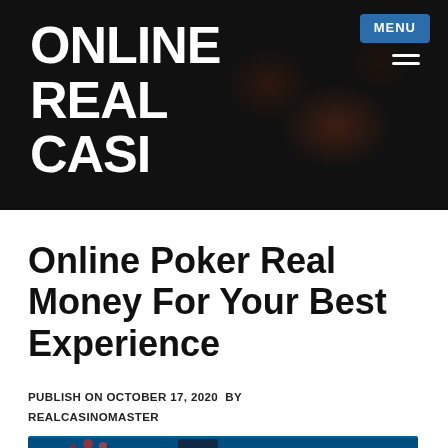ONLINE REAL CASINO
Online Poker Real Money For Your Best Experience
PUBLISH ON OCTOBER 17, 2020  BY REALCASINOMASTER
[Figure (photo): Photo of a smartphone and poker chips on a blue-teal bokeh background, representing online poker real money gaming.]